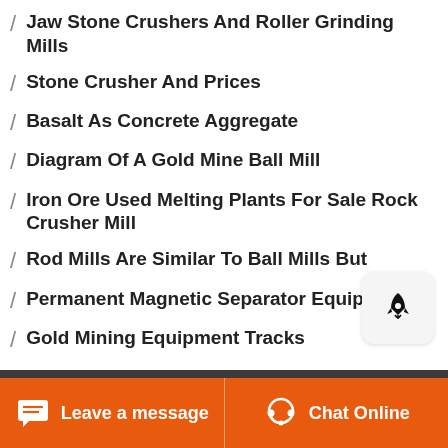Jaw Stone Crushers And Roller Grinding Mills
Stone Crusher And Prices
Basalt As Concrete Aggregate
Diagram Of A Gold Mine Ball Mill
Iron Ore Used Melting Plants For Sale Rock Crusher Mill
Rod Mills Are Similar To Ball Mills But
Permanent Magnetic Separator Equipment
Gold Mining Equipment Tracks
[Figure (illustration): Rocket icon button on light grey rounded rectangle background]
Leave a message | Chat Online